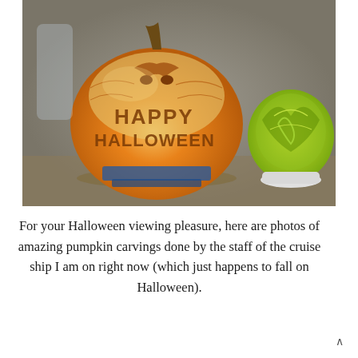[Figure (photo): A large orange pumpkin carved with 'HAPPY HALLOWEEN' text and a bat face design. Next to it on the right is a green and yellow carved melon/gourd. Both are displayed on a table/counter surface.]
For your Halloween viewing pleasure, here are photos of amazing pumpkin carvings done by the staff of the cruise ship I am on right now (which just happens to fall on Halloween).